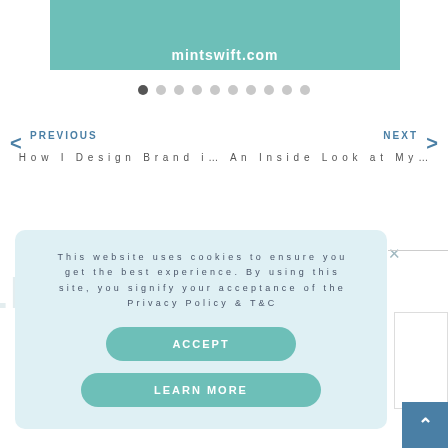[Figure (screenshot): Teal colored banner with website URL mintswift.com in white bold text]
mintswift.com
[Figure (other): Slideshow navigation dots, first dot filled dark, rest light gray]
PREVIOUS
NEXT
How I Design Brand i… An Inside Look at My…
This website uses cookies to ensure you get the best experience. By using this site, you signify your acceptance of the Privacy Policy & T&C
ACCEPT
LEARN MORE